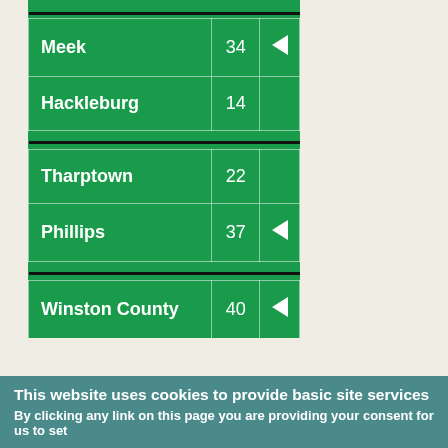| Location | Number | Arrow |
| --- | --- | --- |
| Meek | 34 | ◄ |
| Hackleburg | 14 |  |
| Tharptown | 22 |  |
| Phillips | 37 | ◄ |
| Winston County | 40 | ◄ |
| East Lawrence | 15 |  |
This website uses cookies to provide basic site services
By clicking any link on this page you are providing your consent for us to set